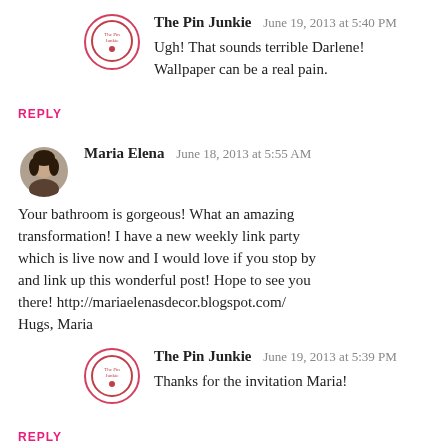(partial top comment cut off)
[Figure (logo): The Pin Junkie circular logo with red border]
The Pin Junkie   June 19, 2013 at 5:40 PM
Ugh! That sounds terrible Darlene! Wallpaper can be a real pain.
REPLY
[Figure (photo): Maria Elena avatar photo, woman with dark hair]
Maria Elena   June 18, 2013 at 5:55 AM
Your bathroom is gorgeous! What an amazing transformation! I have a new weekly link party which is live now and I would love if you stop by and link up this wonderful post! Hope to see you there! http://mariaelenasdecor.blogspot.com/ Hugs, Maria
[Figure (logo): The Pin Junkie circular logo with red border]
The Pin Junkie   June 19, 2013 at 5:39 PM
Thanks for the invitation Maria!
REPLY